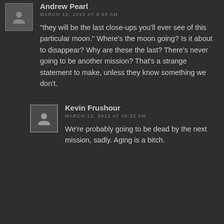Andrew Pearl
MARCH 12, 2013 AT 8:28 AM
“they will be the last close-ups you'll ever see of this particular moon.” Where's the moon going? Is it about to disappear? Why are these the last? There's never going to be another mission? That's a strange statement to make, unless they know something we don't.
Kevin Frushour
MARCH 12, 2013 AT 10:32 AM
We’re probably going to be dead by the next mission, sadly. Aging is a bitch.